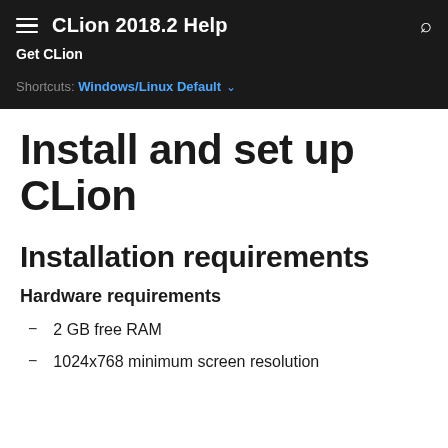CLion 2018.2 Help
Get CLion
Shortcuts: Windows/Linux Default
Install and set up CLion
Installation requirements
Hardware requirements
2 GB free RAM
1024x768 minimum screen resolution